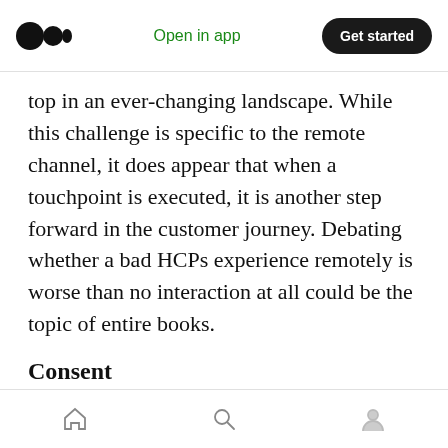Medium app header — Open in app | Get started
top in an ever-changing landscape. While this challenge is specific to the remote channel, it does appear that when a touchpoint is executed, it is another step forward in the customer journey. Debating whether a bad HCPs experience remotely is worse than no interaction at all could be the topic of entire books.
Consent
Secondly, another challenge revolves around the area of consent. Very few companies had a well-considered consent strategy before the pandemic
Bottom navigation bar with home, search, and profile icons